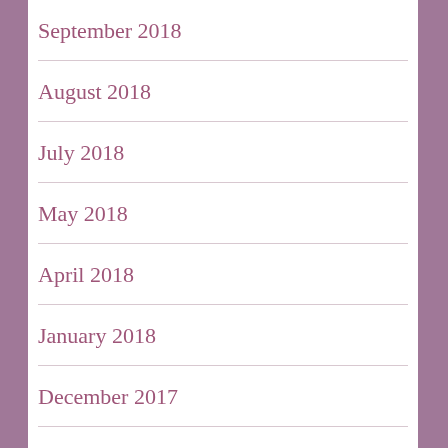September 2018
August 2018
July 2018
May 2018
April 2018
January 2018
December 2017
September 2017
August 2017